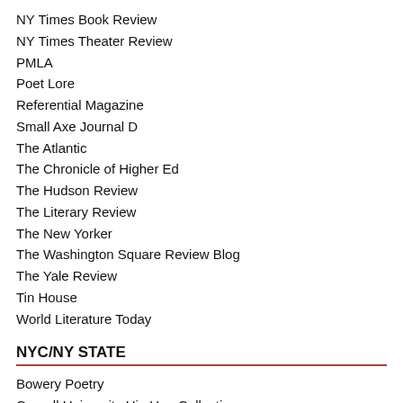NY Times Book Review
NY Times Theater Review
PMLA
Poet Lore
Referential Magazine
Small Axe Journal D
The Atlantic
The Chronicle of Higher Ed
The Hudson Review
The Literary Review
The New Yorker
The Washington Square Review Blog
The Yale Review
Tin House
World Literature Today
NYC/NY STATE
Bowery Poetry
Cornell University Hip Hop Collection